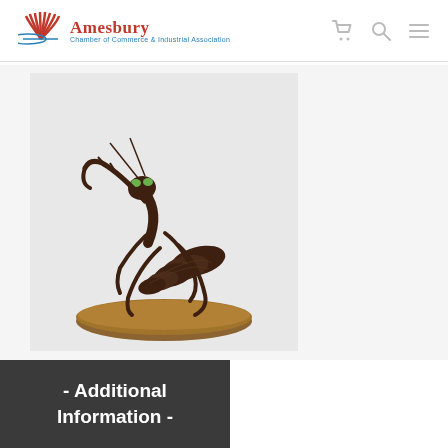Amesbury Chamber of Commerce & Industrial Association
[Figure (photo): Wire sculpture of a praying mantis on a wooden oval base, photographed against a light grey background. The mantis is made from twisted dark wire with green eyes, posed in a rearing stance.]
- Additional Information -